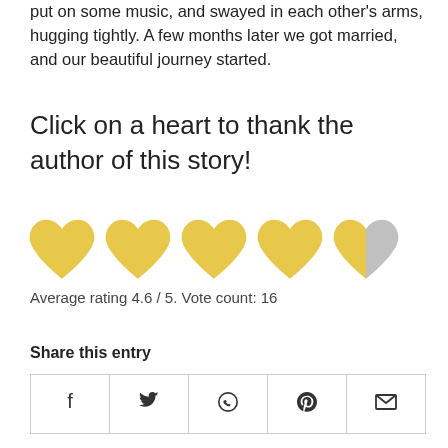put on some music, and swayed in each other's arms, hugging tightly. A few months later we got married, and our beautiful journey started.
Click on a heart to thank the author of this story!
[Figure (illustration): Five heart icons in a row: four filled yellow/gold hearts and one half-filled (left half yellow, right half gray) heart, representing a 4.6 out of 5 rating.]
Average rating 4.6 / 5. Vote count: 16
Share this entry
| f | 𝕎 | WhatsApp | Pinterest | mail |